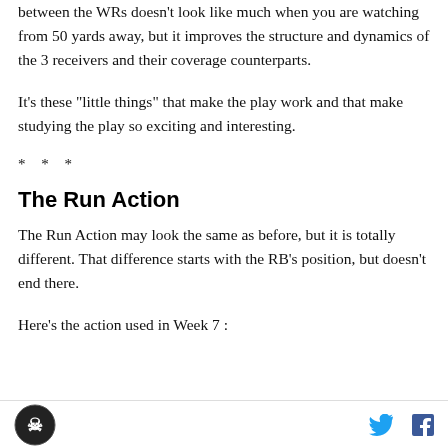between the WRs doesn't look like much when you are watching from 50 yards away, but it improves the structure and dynamics of the 3 receivers and their coverage counterparts.
It's these "little things" that make the play work and that make studying the play so exciting and interesting.
* * *
The Run Action
The Run Action may look the same as before, but it is totally different. That difference starts with the RB's position, but doesn't end there.
Here's the action used in Week 7 :
logo and social media icons